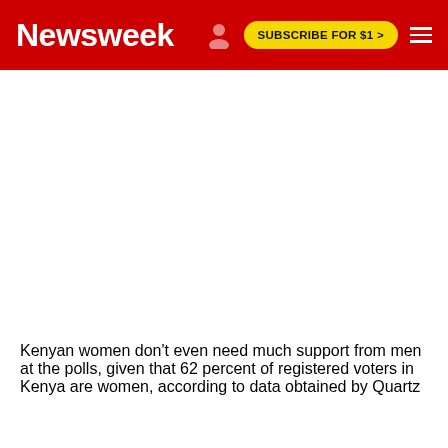Newsweek   SUBSCRIBE FOR $1 >
[Figure (other): White blank advertisement or placeholder space below the Newsweek header]
Kenyan women don't even need much support from men at the polls, given that 62 percent of registered voters in Kenya are women, according to data obtained by Quartz